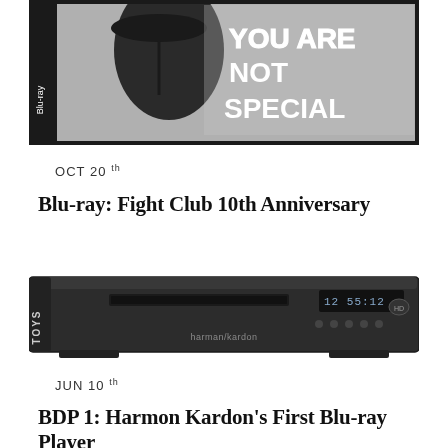[Figure (photo): Blu-ray box set of Fight Club 10th Anniversary edition showing Banksy-style graffiti art with text 'YOU ARE NOT SPECIAL']
OCT 20th
Blu-ray: Fight Club 10th Anniversary
[Figure (photo): Harman Kardon BDP 1 Blu-ray player, a slim black electronic device with display and controls]
JUN 10th
BDP 1: Harmon Kardon's First Blu-ray Player